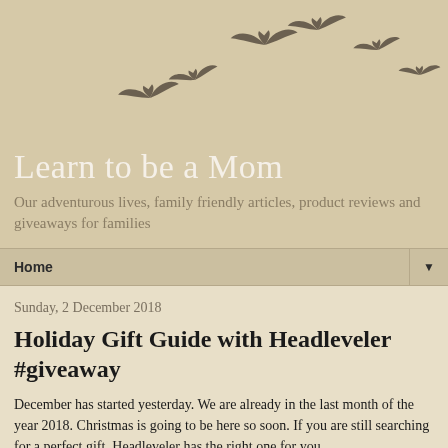[Figure (illustration): Silhouettes of birds in flight arranged in a curved flock pattern against a tan/beige background]
Learn to be a Mom
Our adventurous lives, family friendly articles, product reviews and giveaways for families
Home ▼
Sunday, 2 December 2018
Holiday Gift Guide with Headleveler #giveaway
December has started yesterday. We are already in the last month of the year 2018. Christmas is going to be here so soon. If you are still searching for a perfect gift, Headleveler has the right one for you.